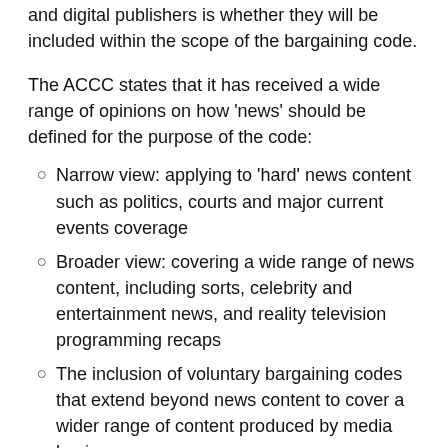and digital publishers is whether they will be included within the scope of the bargaining code.
The ACCC states that it has received a wide range of opinions on how ‘news’ should be defined for the purpose of the code:
Narrow view: applying to ‘hard’ news content such as politics, courts and major current events coverage
Broader view: covering a wide range of news content, including sorts, celebrity and entertainment news, and reality television programming recaps
The inclusion of voluntary bargaining codes that extend beyond news content to cover a wider range of content produced by media businesses.
The ACCC explains within the Concepts Paper that, given the nature of Australia’s news media industry –